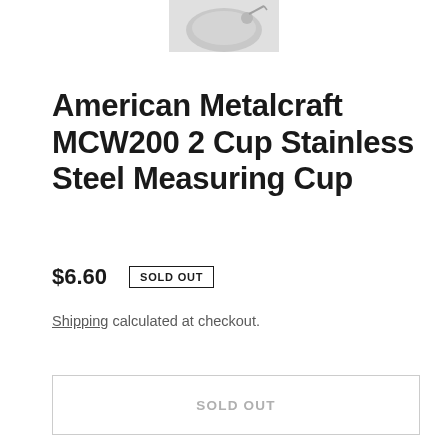[Figure (photo): Product image of stainless steel measuring cup, partially cropped at top of page]
American Metalcraft MCW200 2 Cup Stainless Steel Measuring Cup
$6.60  SOLD OUT
Shipping calculated at checkout.
SOLD OUT
PURCHASE AMERICAN METALCRAFT MCW200 2 CUP STAINLESS STEEL MEASURING CUP FOR SALE